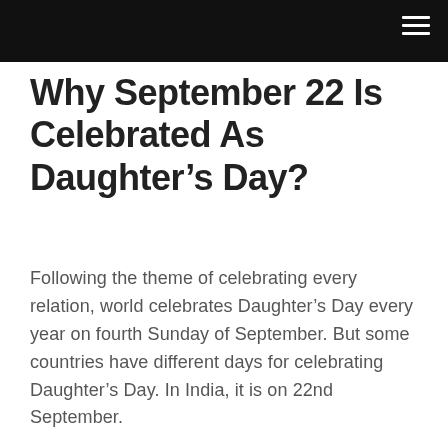Why September 22 Is Celebrated As Daughter’s Day?
Following the theme of celebrating every relation, world celebrates Daughter’s Day every year on fourth Sunday of September. But some countries have different days for celebrating Daughter’s Day. In India, it is on 22nd September.